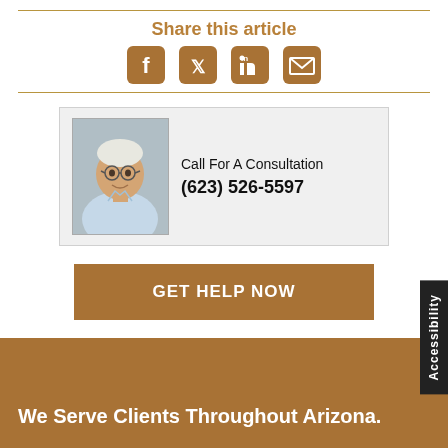Share this article
[Figure (infographic): Social share icons: Facebook, Twitter, LinkedIn, Email in brown/tan color]
[Figure (photo): Photo of an older gentleman with glasses in a light blue shirt, consultation card with phone number]
Call For A Consultation
(623) 526-5597
GET HELP NOW
Accessibility
We Serve Clients Throughout Arizona.